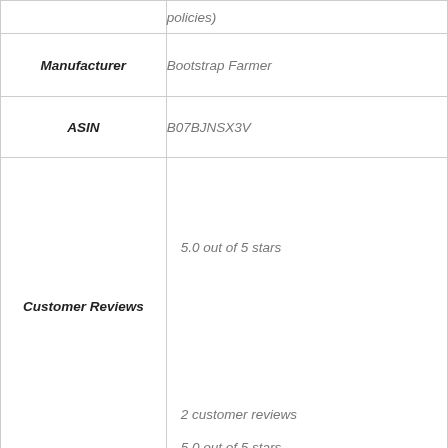|  |  |
| --- | --- |
|  | policies) |
| Manufacturer | Bootstrap Farmer |
| ASIN | B07BJNSX3V |
| Customer Reviews | 5.0 out of 5 stars
2 customer reviews
5.0 out of 5 stars |